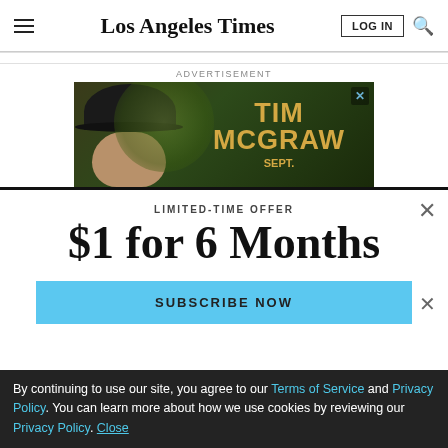Los Angeles Times
ADVERTISEMENT
[Figure (photo): Advertisement banner for Tim McGraw featuring a man in a black cowboy hat on a dark green background with the text TIM MCGRAW in gold letters and SEPT. below]
LIMITED-TIME OFFER
$1 for 6 Months
SUBSCRIBE NOW
By continuing to use our site, you agree to our Terms of Service and Privacy Policy. You can learn more about how we use cookies by reviewing our Privacy Policy. Close